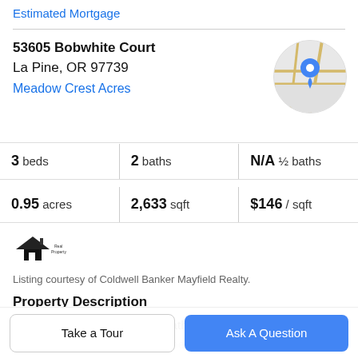Estimated Mortgage
53605 Bobwhite Court
La Pine, OR 97739
Meadow Crest Acres
[Figure (map): Circular Google Maps thumbnail showing street map with a blue location pin marker]
| Stat | Value |
| --- | --- |
| beds | 3 |
| baths | 2 |
| ½ baths | N/A |
| acres | 0.95 |
| sqft | 2,633 |
| $ / sqft | $146 |
[Figure (logo): Coldwell Banker Mayfield Realty broker logo icon showing stylized house]
Listing courtesy of Coldwell Banker Mayfield Realty.
Property Description
Very private 2,633sf 3bed/2bath triple wide home. Located on a private cul-de-sac. This home has a newer roof...